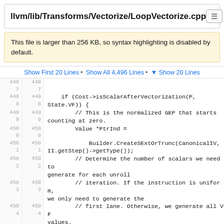llvm/lib/Transforms/Vectorize/LoopVectorize.cpp
This file is larger than 256 KB, so syntax highlighting is disabled by default.
Show First 20 Lines • Show All 4,496 Lines • ▼ Show 20 Lines
4497
4497

4498
4498    if (Cost->isScalarAfterVectorization(P, State.VF)) {
4499
4499        // This is the normalized GEP that starts counting at zero.
4500
4500        Value *PtrInd =
4501
4501            Builder.CreateSExtOrTrunc(CanonicalIV, II.getStep()->getType());
4502
4502        // Determine the number of scalars we need to generate for each unroll
4503
4503        // iteration. If the instruction is uniform, we only need to generate the
4504
4504        // first lane. Otherwise, we generate all VF values.
4505
4505        bool IsUniform = Cost->isUniformAfterVectorization(P, State.VF);